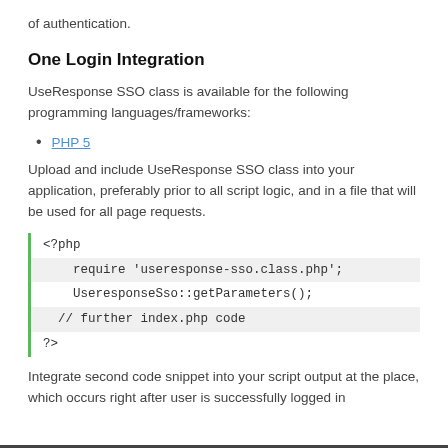of authentication.
One Login Integration
UseResponse SSO class is available for the following programming languages/frameworks:
PHP 5
Upload and include UseResponse SSO class into your application, preferably prior to all script logic, and in a file that will be used for all page requests.
[Figure (screenshot): PHP code block with green left border showing: <?php, require 'useresponse-sso.class.php';, UseresponseSso::getParameters();, // further index.php code, ?>]
Integrate second code snippet into your script output at the place, which occurs right after user is successfully logged in